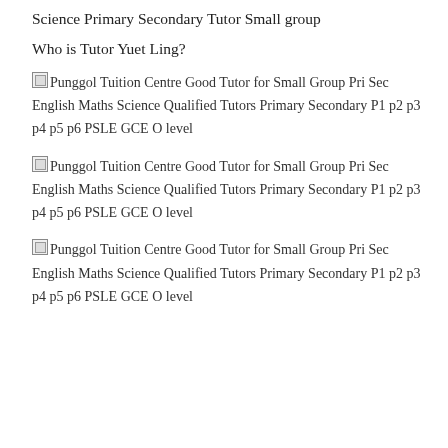Science Primary Secondary Tutor Small group
Who is Tutor Yuet Ling?
[Figure (photo): Broken image placeholder: Punggol Tuition Centre Good Tutor for Small Group Pri Sec English Maths Science Qualified Tutors Primary Secondary P1 p2 p3 p4 p5 p6 PSLE GCE O level]
[Figure (photo): Broken image placeholder: Punggol Tuition Centre Good Tutor for Small Group Pri Sec English Maths Science Qualified Tutors Primary Secondary P1 p2 p3 p4 p5 p6 PSLE GCE O level]
[Figure (photo): Broken image placeholder: Punggol Tuition Centre Good Tutor for Small Group Pri Sec English Maths Science Qualified Tutors Primary Secondary P1 p2 p3 p4 p5 p6 PSLE GCE O level]